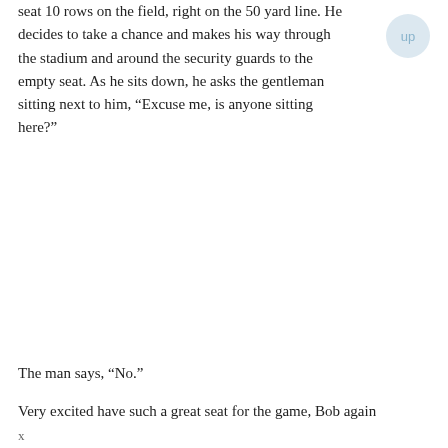seat 10 rows on the field, right on the 50 yard line. He decides to take a chance and makes his way through the stadium and around the security guards to the empty seat. As he sits down, he asks the gentleman sitting next to him, “Excuse me, is anyone sitting here?”
The man says, “No.”
Very excited have such a great seat for the game, Bob again